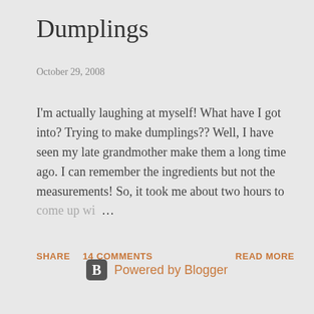Dumplings
October 29, 2008
I'm actually laughing at myself! What have I got into? Trying to make dumplings?? Well, I have seen my late grandmother make them a long time ago. I can remember the ingredients but not the measurements! So, it took me about two hours to come up wi…
SHARE   14 COMMENTS   READ MORE
[Figure (logo): Powered by Blogger logo with orange B icon and text]